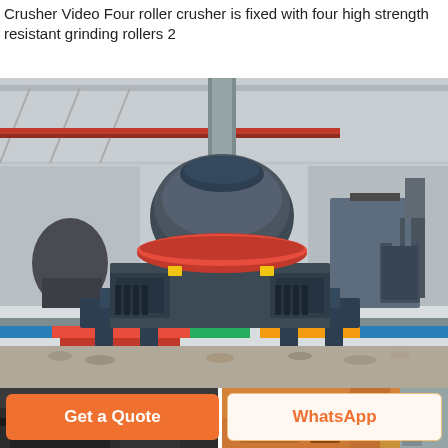Crusher Video Four roller crusher is fixed with four high strength resistant grinding rollers 2
[Figure (photo): Large industrial crusher machine (VSI/impact type) in a factory/warehouse floor, surrounded by crushed stone/gravel. Machine is dark gray with a red accent ring, mounted on a heavy base. Background shows industrial building with red overhead pipes.]
[Figure (photo): Left portion: dark industrial conveyor or crusher machinery close-up. Right portion: orange/brown metallic industrial components close-up.]
Get a Quote
WhatsApp